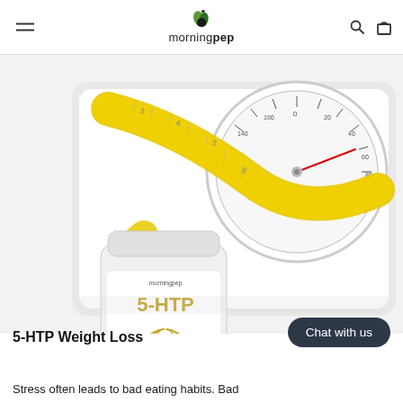morningpep
[Figure (photo): Product photo: a white bathroom scale with a circular dial face, a yellow measuring tape coiled on top of it, and a white bottle of Morning Pep 5-HTP 200mg supplement in the foreground.]
5-HTP Weight Loss
Stress often leads to bad eating habits. Bad